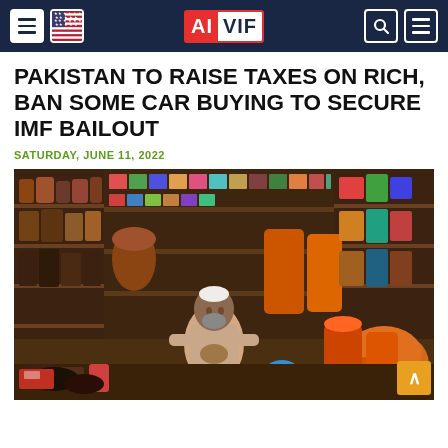AI VIF
PAKISTAN TO RAISE TAXES ON RICH, BAN SOME CAR BUYING TO SECURE IMF BAILOUT
SATURDAY, JUNE 11, 2022
[Figure (photo): An elderly Pakistani shopkeeper sits in a small grocery/spice shop surrounded by shelves stocked with colorful jars, cans, sacks, and packages of goods. Large orange containers and spice bags are visible in the foreground.]